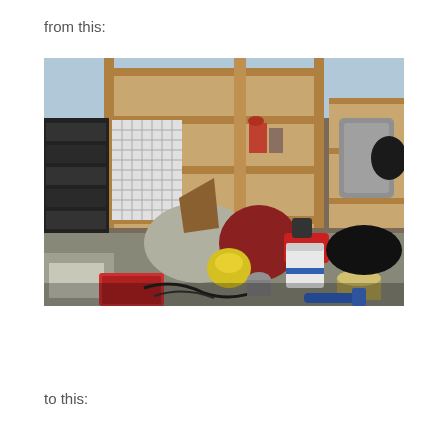from this:
[Figure (photo): A cluttered, messy room or garage with shelving units, plastic storage drawers, bags of garbage, tools, a bucket, paint cans, cables, and various items scattered on the floor.]
to this: